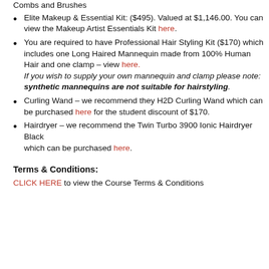Elite Makeup & Essential Kit: ($495). Valued at $1,146.00. You can view the Makeup Artist Essentials Kit here.
You are required to have Professional Hair Styling Kit ($170) which includes one Long Haired Mannequin made from 100% Human Hair and one clamp – view here. If you wish to supply your own mannequin and clamp please note: synthetic mannequins are not suitable for hairstyling.
Curling Wand – we recommend they H2D Curling Wand which can be purchased here for the student discount of $170.
Hairdryer – we recommend the Twin Turbo 3900 Ionic Hairdryer Black which can be purchased here.
Terms & Conditions:
CLICK HERE to view the Course Terms & Conditions